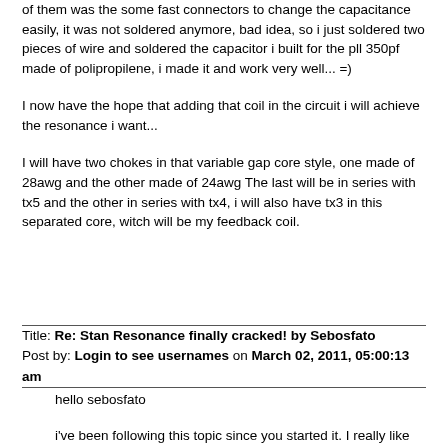of them was the some fast connectors to change the capacitance easily, it was not soldered anymore, bad idea, so i just soldered two pieces of wire and soldered the capacitor i built for the pll 350pf made of polipropilene, i made it and work very well... =)
I now have the hope that adding that coil in the circuit i will achieve the resonance i want...
I will have two chokes in that variable gap core style, one made of 28awg and the other made of 24awg The last will be in series with tx5 and the other in series with tx4, i will also have tx3 in this separated core, witch will be my feedback coil.
Title: Re: Stan Resonance finally cracked! by Sebosfato
Post by: Login to see usernames on March 02, 2011, 05:00:13 am
hello sebosfato
i've been following this topic since you started it. I really like